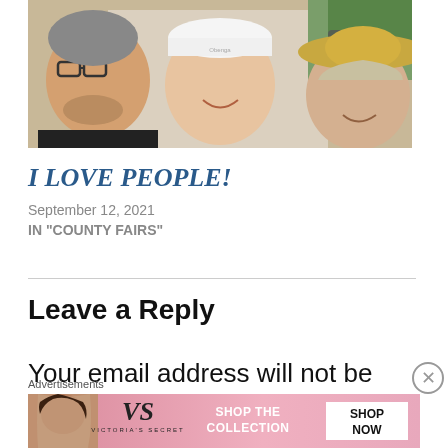[Figure (photo): Close-up selfie of three people smiling: a man with glasses and gray beard on the left, a woman in a white cap in the center, and a woman in a straw hat on the right, at what appears to be an outdoor fair booth]
I LOVE PEOPLE!
September 12, 2021
IN "COUNTY FAIRS"
Leave a Reply
Your email address will not be
[Figure (other): Victoria's Secret advertisement banner: pink background with model photo on left, VS logo in center, 'SHOP THE COLLECTION' text, and 'SHOP NOW' white button on right]